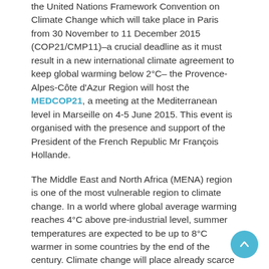the United Nations Framework Convention on Climate Change which will take place in Paris from 30 November to 11 December 2015 (COP21/CMP11)–a crucial deadline as it must result in a new international climate agreement to keep global warming below 2°C– the Provence-Alpes-Côte d'Azur Region will host the MEDCOP21, a meeting at the Mediterranean level in Marseille on 4-5 June 2015. This event is organised with the presence and support of the President of the French Republic Mr François Hollande.
The Middle East and North Africa (MENA) region is one of the most vulnerable region to climate change. In a world where global average warming reaches 4°C above pre-industrial level, summer temperatures are expected to be up to 8°C warmer in some countries by the end of the century. Climate change will place already scarce water resources under intense pressure in the MENA region, with major consequences for human life and regional food security. Declines in agricultural productivity will have strong repercussions for economic